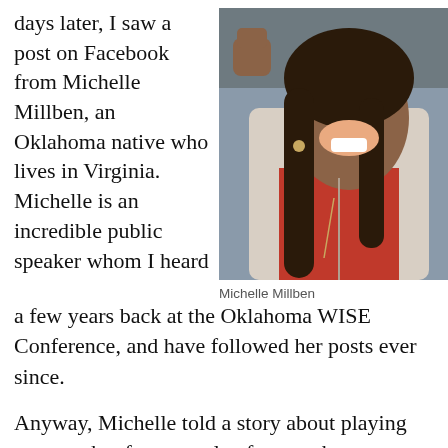days later, I saw a post on Facebook from Michelle Millben, an Oklahoma native who lives in Virginia. Michelle is an incredible public speaker whom I heard a few years back at the Oklahoma WISE Conference, and have followed her posts ever since.
[Figure (photo): Photo of Michelle Millben, a woman with long curly hair, wearing a beige blazer and red top, raising her fist, smiling, sitting in a car.]
Michelle Millben
Anyway, Michelle told a story about playing peacemaker for a couple of guys who were about to